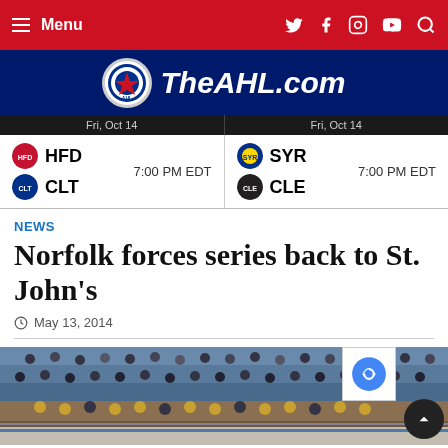Menu | TheAHL.com navigation
[Figure (logo): TheAHL.com logo with AHL circular emblem on dark blue background]
Fri, Oct 14 | HFD vs CLT 7:00 PM EDT | Fri, Oct 14 | SYR vs CLE 7:00 PM EDT
NEWS
Norfolk forces series back to St. John's
May 13, 2014
[Figure (photo): Crowd at an AHL hockey arena game, fans in stands visible]